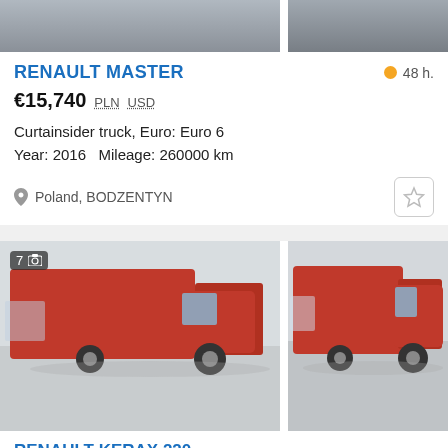[Figure (photo): Top portion of two vehicle listing thumbnail photos (partially cropped at top)]
RENAULT MASTER
48 h.
€15,740  PLN  USD
Curtainsider truck, Euro: Euro 6
Year: 2016   Mileage: 260000 km
Poland, BODZENTYN
[Figure (photo): Two photos of a red Renault curtainsider truck, front-left view. Badge showing 7 photos.]
RENAULT KERAX 220
€7,000  USD  MYR